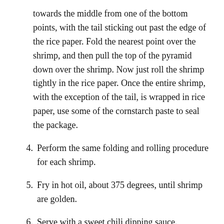towards the middle from one of the bottom points, with the tail sticking out past the edge of the rice paper. Fold the nearest point over the shrimp, and then pull the top of the pyramid down over the shrimp. Now just roll the shrimp tightly in the rice paper. Once the entire shrimp, with the exception of the tail, is wrapped in rice paper, use some of the cornstarch paste to seal the package.
4. Perform the same folding and rolling procedure for each shrimp.
5. Fry in hot oil, about 375 degrees, until shrimp are golden.
6. Serve with a sweet chili dipping sauce.